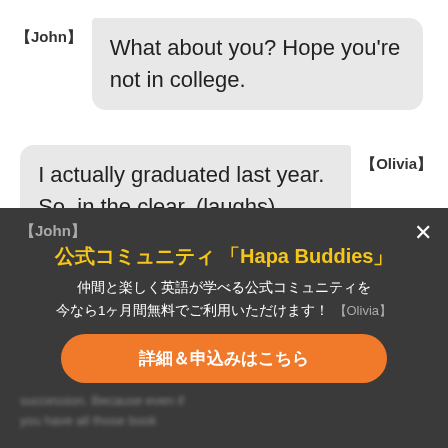【John】 What about you? Hope you're not in college.
【Olivia】 I actually graduated last year. So, in the clear. (laughs) Yeah, I completely agree. I think—like, book smarts is the knowledge. But then street smarts is the application.
公式コミュニティ 「Hapa Buddies」
仲間と楽しく英語が学べる公式コミュニティを今なら1ヶ月間無料でご利用いただけます！
詳細＆申込みはこちら